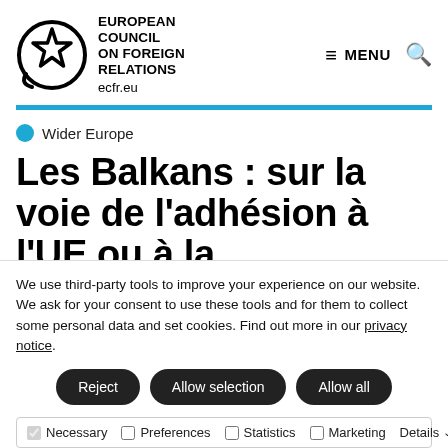[Figure (logo): European Council on Foreign Relations logo with circle and star, text: EUROPEAN COUNCIL ON FOREIGN RELATIONS ecfr.eu, with menu and search icons]
Les Balkans : sur la voie de l'adhésion à l'UE ou à la
We use third-party tools to improve your experience on our website. We ask for your consent to use these tools and for them to collect some personal data and set cookies. Find out more in our privacy notice.
Reject
Allow selection
Allow all
Necessary   Preferences   Statistics   Marketing   Details